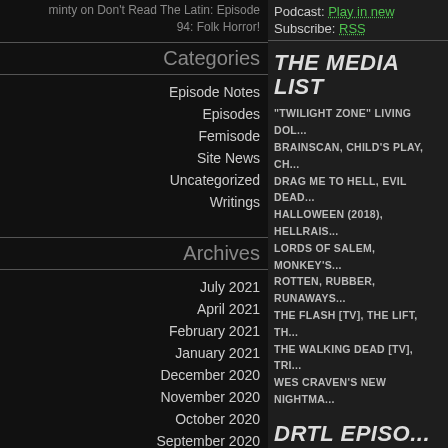minty on Don't Read The Latin: Episode 94: Folk Horror!
Categories
Episode Notes
Episodes
Femisode
Site News
Uncategorized
Writings
Archives
July 2021
April 2021
February 2021
January 2021
December 2020
November 2020
October 2020
September 2020
August 2020
Podcast: Play in new
Subscribe: RSS
THE MEDIA LIST
"TWILIGHT ZONE" LIVING DOL... BRAINSCAN, CHILD'S PLAY, CH... DRAG ME TO HELL, EVIL DEAD... HALLOWEEN (2018), HELLRAIS... LORDS OF SALEM, MONKEY'S... ROTTEN, RUBBER, RUNAWAYS... THE FLASH [TV], THE LIFT, TH... THE WALKING DEAD [TV], TRI... WES CRAVEN'S NEW NIGHTMA...
DRTL EPISO...